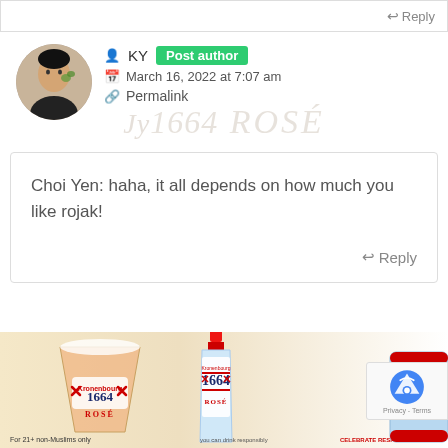↩ Reply
KY  Post author
March 16, 2022 at 7:07 am
Permalink
[Figure (photo): Circular avatar photo of a young Asian man wearing black, holding a green leaf or plant, with a blurred background.]
[Figure (other): Watermark text reading '1664 ROSÉ' in light grey/tan italic script behind the comment area.]
Choi Yen: haha, it all depends on how much you like rojak!
↩ Reply
Leave a Reply to  Cancel reply
[Figure (photo): Advertisement image for Kronenbourg 1664 ROSÉ beer showing a glass of rosé beer and a bottle against a light background. Text at bottom: 'For 21+ non-Muslims only ... CELEBRATE RESPONSIBLY']